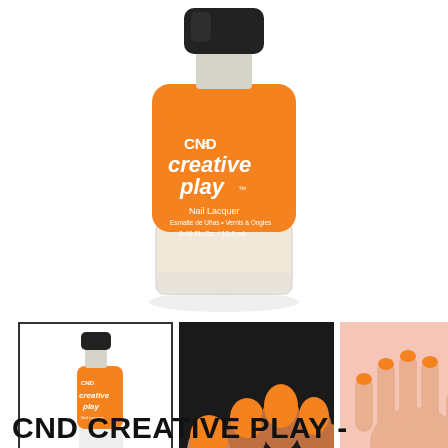[Figure (photo): Main product photo of CND Creative Play Nail Lacquer bottle in orange color, showing front label with CND Creative Play branding, Nail Lacquer text, 0.46 FL.Oz. / 13.6 mL, black cap]
[Figure (photo): Thumbnail 1: Small orange CND Creative Play nail lacquer bottle with black cap, selected state with border]
[Figure (photo): Thumbnail 2: Close-up photo of a hand with orange painted nails on dark background]
[Figure (photo): Thumbnail 3: Hand with spread fingers and orange nails holding a small nail polish bottle, pink background]
CND CREATIVE PLAY -